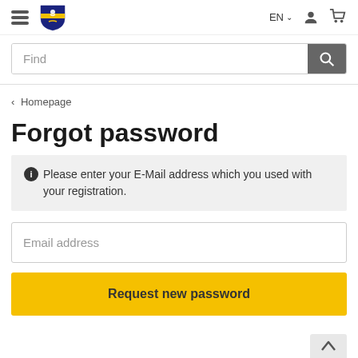EN Homepage
Find
‹ Homepage
Forgot password
Please enter your E-Mail address which you used with your registration.
Email address
Request new password